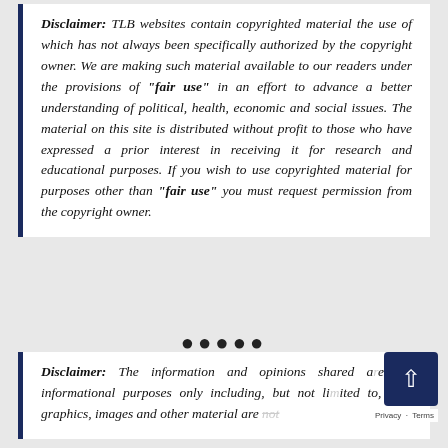Disclaimer: TLB websites contain copyrighted material the use of which has not always been specifically authorized by the copyright owner. We are making such material available to our readers under the provisions of "fair use" in an effort to advance a better understanding of political, health, economic and social issues. The material on this site is distributed without profit to those who have expressed a prior interest in receiving it for research and educational purposes. If you wish to use copyrighted material for purposes other than "fair use" you must request permission from the copyright owner.
••••
Disclaimer: The information and opinions shared are for informational purposes only including, but not limited to, text, graphics, images and other material are not...